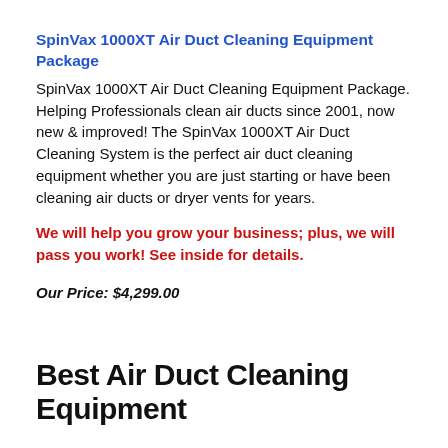SpinVax 1000XT Air Duct Cleaning Equipment Package
SpinVax 1000XT Air Duct Cleaning Equipment Package. Helping Professionals clean air ducts since 2001, now new & improved! The SpinVax 1000XT Air Duct Cleaning System is the perfect air duct cleaning equipment whether you are just starting or have been cleaning air ducts or dryer vents for years.
We will help you grow your business; plus, we will pass you work! See inside for details.
Our Price: $4,299.00
Best Air Duct Cleaning Equipment